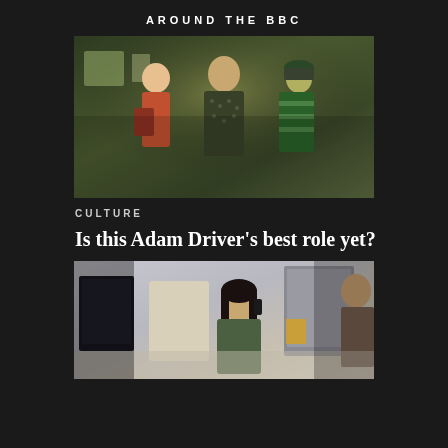AROUND THE BBC
[Figure (photo): Group of people in a dimly lit wooden interior scene; a man in a patterned shirt stands in the center, with other figures behind him]
CULTURE
Is this Adam Driver's best role yet?
[Figure (photo): Woman sitting at a desk in an office, using a computer and phone, with monitors visible around her]